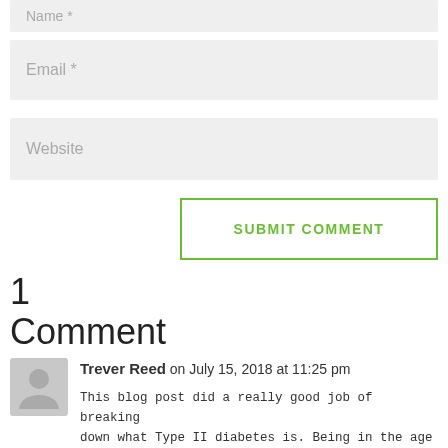[Figure (other): Name input field (partially visible at top)]
[Figure (other): Email * input field]
[Figure (other): Website input field]
[Figure (other): SUBMIT COMMENT button with green border]
1 Comment
Trever Reed on July 15, 2018 at 11:25 pm
This blog post did a really good job of breaking down what Type II diabetes is. Being in the age of direct access, physical therapists are now one of the first points of contact that a person may have with the healthcare system. As a result, I think we have a responsibility to try to screen for